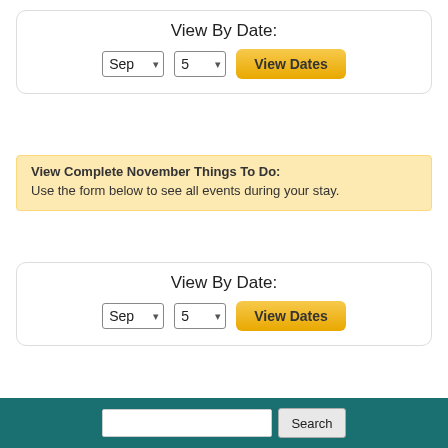View By Date:
[Figure (screenshot): Date picker with 'Sep' month dropdown, '5' day dropdown, and 'View Dates' button (top)]
View Complete November Things To Do: Use the form below to see all events during your stay.
View By Date:
[Figure (screenshot): Date picker with 'Sep' month dropdown, '5' day dropdown, and 'View Dates' button (second)]
Types of Things To Do
All Things To Do
Popular Things To Do
Search